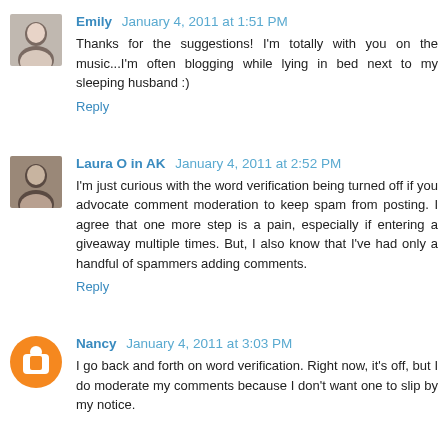Emily January 4, 2011 at 1:51 PM
Thanks for the suggestions! I'm totally with you on the music...I'm often blogging while lying in bed next to my sleeping husband :)
Reply
Laura O in AK January 4, 2011 at 2:52 PM
I'm just curious with the word verification being turned off if you advocate comment moderation to keep spam from posting. I agree that one more step is a pain, especially if entering a giveaway multiple times. But, I also know that I've had only a handful of spammers adding comments.
Reply
Nancy January 4, 2011 at 3:03 PM
I go back and forth on word verification. Right now, it's off, but I do moderate my comments because I don't want one to slip by my notice.